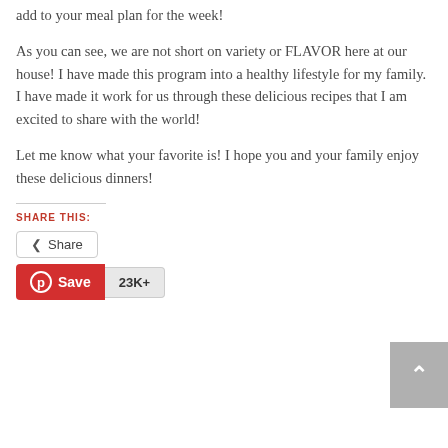add to your meal plan for the week!
As you can see, we are not short on variety or FLAVOR here at our house!  I have made this program into a healthy lifestyle for my family.  I have made it work for us through these delicious recipes that I am excited to share with the world!
Let me know what your favorite is!   I hope you and your family enjoy these delicious dinners!
SHARE THIS:
Share
Save 23K+